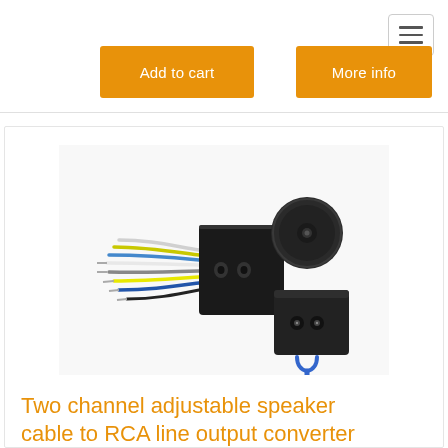[Figure (other): Navigation hamburger menu icon button with three horizontal lines, bordered box, top right corner]
Add to cart
More info
[Figure (photo): Two channel adjustable speaker cable to RCA line output converter product photo showing black electronic component with colored wires on left, round black connector piece top right, and smaller black box with two RCA outputs bottom right]
Two channel adjustable speaker cable to RCA line output converter